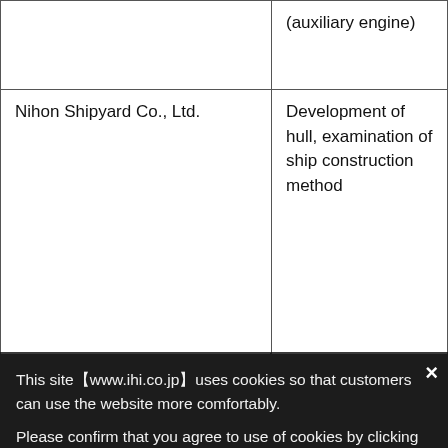| Organization | Role/Activity |
| --- | --- |
|  | (auxiliary engine) |
| Nihon Shipyard Co., Ltd. | Development of hull, examination of ship construction method |
| Nippon Kaiji Kyokai (ClassNK) | Safety assessment |
[Figure (screenshot): Cookie consent modal overlay on dark background with Ammonia vessel image partially visible. The modal reads: 'This site[www.ihi.co.jp]uses cookies so that customers can use the website more comfortably. Please confirm that you agree to use of cookies by clicking OK. For more information about the use of cookies on this site, please review our Privacy Policy.' with an OK button and a close X button.]
[Figure (photo): Dark photograph of an Ammonia tanker/vessel, partially visible at the bottom of the page behind the cookie overlay.]